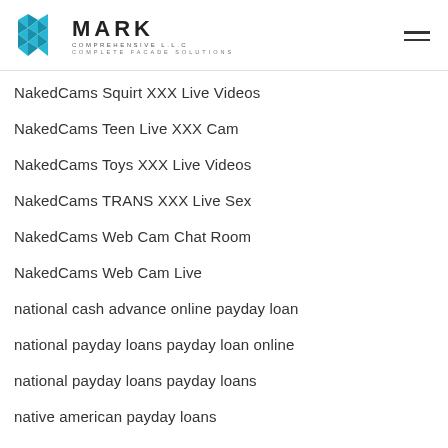MARK COMPREHENSIVE L.L.C — COMPLETE FACADE SOLUTIONS
NakedCams Squirt XXX Live Videos
NakedCams Teen Live XXX Cam
NakedCams Toys XXX Live Videos
NakedCams TRANS XXX Live Sex
NakedCams Web Cam Chat Room
NakedCams Web Cam Live
national cash advance online payday loan
national payday loans payday loan online
national payday loans payday loans
native american payday loans